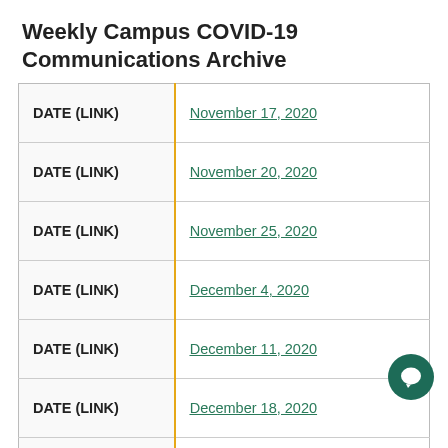Weekly Campus COVID-19 Communications Archive
| DATE (LINK) | DATE (LINK) |
| --- | --- |
| DATE (LINK) | November 17, 2020 |
| DATE (LINK) | November 20, 2020 |
| DATE (LINK) | November 25, 2020 |
| DATE (LINK) | December 4, 2020 |
| DATE (LINK) | December 11, 2020 |
| DATE (LINK) | December 18, 2020 |
| DATE (LINK) | January 8, 2021 |
| DATE (LINK) | January 15, 2021 |
| DATE (LINK) | January 22, 2021 |
| DATE (LINK) | January 29, 2021 |